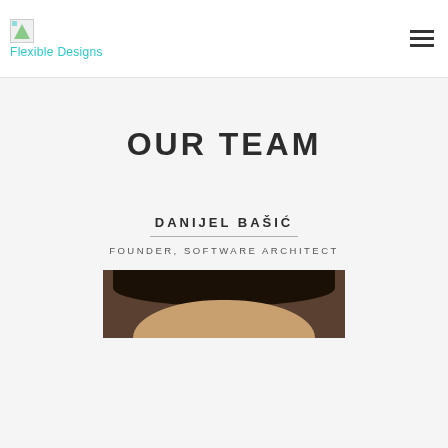Flexible Designs
OUR TEAM
DANIJEL BAŠIĆ
FOUNDER, SOFTWARE ARCHITECT
[Figure (photo): Photo of Danijel Bašić — top portion of face visible, showing forehead and hair against dark background]